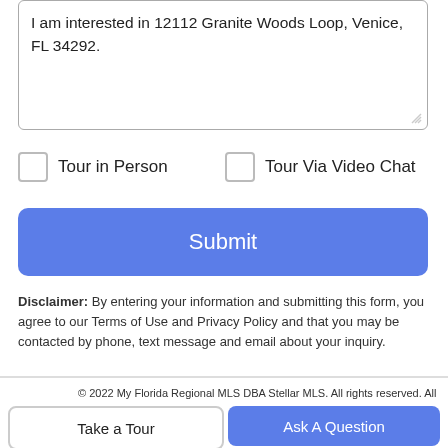I am interested in 12112 Granite Woods Loop, Venice, FL 34292.
Tour in Person
Tour Via Video Chat
Submit
Disclaimer: By entering your information and submitting this form, you agree to our Terms of Use and Privacy Policy and that you may be contacted by phone, text message and email about your inquiry.
© 2022 My Florida Regional MLS DBA Stellar MLS. All rights reserved. All listings displayed pursuant to
Take a Tour
Ask A Question